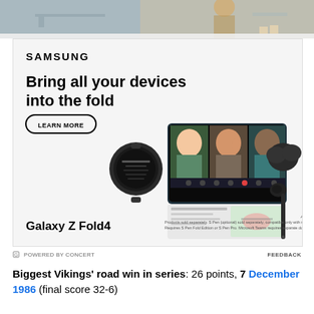[Figure (photo): Top strip showing a person in a casual office/home environment, partial view, serves as background for Samsung ad context]
[Figure (illustration): Samsung Galaxy Z Fold4 advertisement showing Samsung branding, tagline 'Bring all your devices into the fold', LEARN MORE button, product images of Galaxy Z Fold4 open showing video call with three people, a Galaxy Watch5, Buds2 Pro, and S Pen]
POWERED BY CONCERT   FEEDBACK
Biggest Vikings' road win in series: 26 points, 7 December 1986 (final score 32-6)